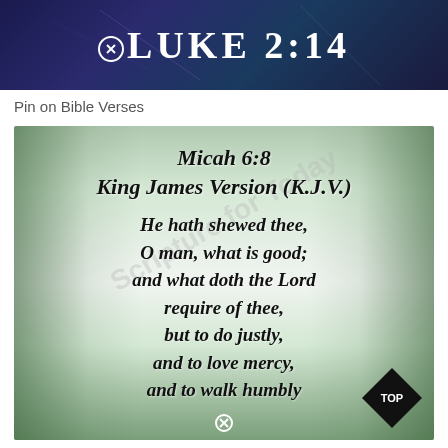[Figure (illustration): Dark blue/navy background image with 'LUKE 2:14' text in white uppercase serif letters with a circular X icon]
Pin on Bible Verses
[Figure (illustration): Forest background image with Bible verse text overlay: Micah 6:8 King James Version (K.J.V.) He hath shewed thee, O man, what is good; and what doth the Lord require of thee, but to do justly, and to love mercy, and to walk humbly. Watermark overlay and black diamond TOP badge in corner.]